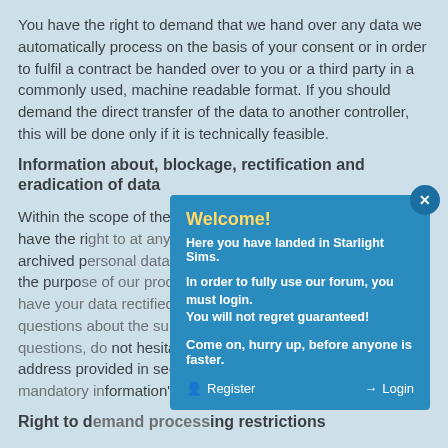You have the right to demand that we hand over any data we automatically process on the basis of your consent or in order to fulfil a contract be handed over to you or a third party in a commonly used, machine readable format. If you should demand the direct transfer of the data to another controller, this will be done only if it is technically feasible.
Information about, blockage, rectification and eradication of data
Within the scope of the applicable statutory provisions, you have the right to at any time demand information about your archived personal data, their source and recipients as well as the purpose of our processing. You may also have a right to have your data rectified, blocked or eradicated. If you have questions about the subject matter or any other personal data questions, do not hesitate to contact us at any time at the address provided in section "General information and mandatory information".
Right to demand processing restrictions
You have the right to demand the imposition of restrictions
[Figure (screenshot): A modal dialog box overlaying the text content. The modal has a teal/blue background with a close button (x) in top right corner. It contains the title 'Welcome!' in yellow, subtitle 'Here you have landed in Starlight Sims.', body text 'In order to fully use our forum, you must login. You will not regret guaranteed!', a line 'Come on, hurry up, before anyone is faster.', and two buttons at the bottom: 'Register' on the left and 'Login' on the right.]